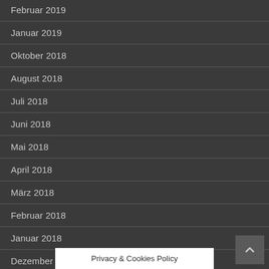Februar 2019
Januar 2019
Oktober 2018
August 2018
Juli 2018
Juni 2018
Mai 2018
April 2018
März 2018
Februar 2018
Januar 2018
Dezember 2017
Privacy & Cookies Policy